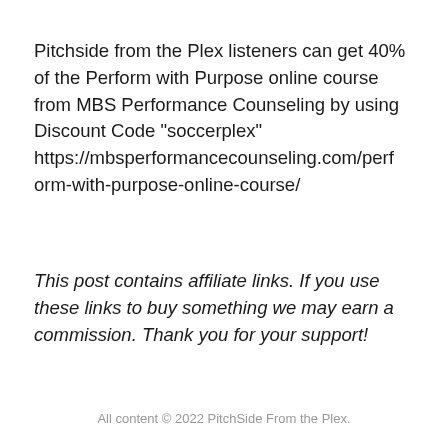Pitchside from the Plex listeners can get 40% of the Perform with Purpose online course from MBS Performance Counseling by using Discount Code "soccerplex" https://mbsperformancecounseling.com/perform-with-purpose-online-course/
This post contains affiliate links. If you use these links to buy something we may earn a commission. Thank you for your support!
All content © 2022 PitchSide From the Plex.